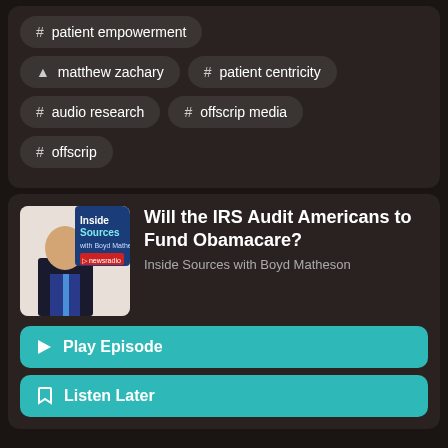# patient empowerment
▲ matthew zachary
# patient centricity
# audio research
# offscrip media
# offscrip
Will the IRS Audit Americans to Fund Obamacare?
Inside Sources with Boyd Matheson
► Play Episode
☐ Listen Later